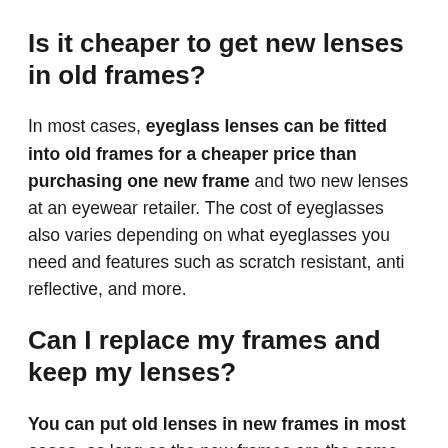Is it cheaper to get new lenses in old frames?
In most cases, eyeglass lenses can be fitted into old frames for a cheaper price than purchasing one new frame and two new lenses at an eyewear retailer. The cost of eyeglasses also varies depending on what eyeglasses you need and features such as scratch resistant, anti reflective, and more.
Can I replace my frames and keep my lenses?
You can put old lenses in new frames in most cases, as long as the new frames are the same ones you used to